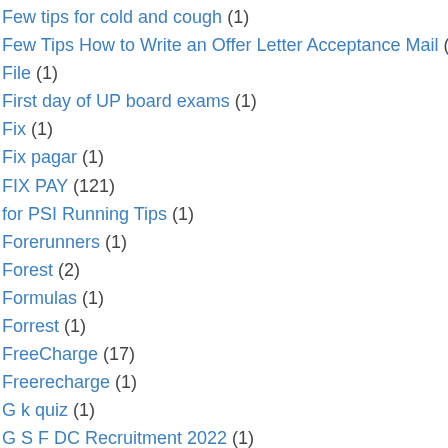Few tips for cold and cough (1)
Few Tips How to Write an Offer Letter Acceptance Mail (1)
File (1)
First day of UP board exams (1)
Fix (1)
Fix pagar (1)
FIX PAY (121)
for PSI Running Tips (1)
Forerunners (1)
Forest (2)
Formulas (1)
Forrest (1)
FreeCharge (17)
Freerecharge (1)
G k quiz (1)
G S F DC Recruitment 2022 (1)
Games (2)
Games tricks (1)
Garena Free Fire banned in india | 59 Chinese apps banned by india